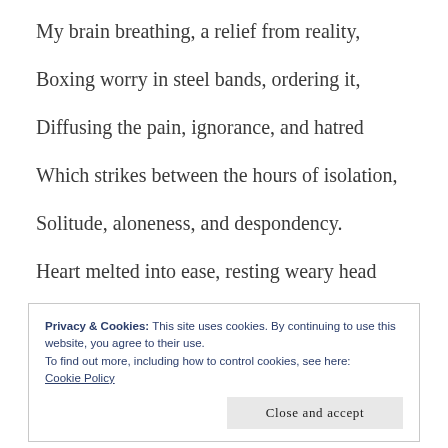My brain breathing, a relief from reality,
Boxing worry in steel bands, ordering it,
Diffusing the pain, ignorance, and hatred
Which strikes between the hours of isolation,
Solitude, aloneness, and despondency.
Heart melted into ease, resting weary head
Privacy & Cookies: This site uses cookies. By continuing to use this website, you agree to their use.
To find out more, including how to control cookies, see here: Cookie Policy
Close and accept